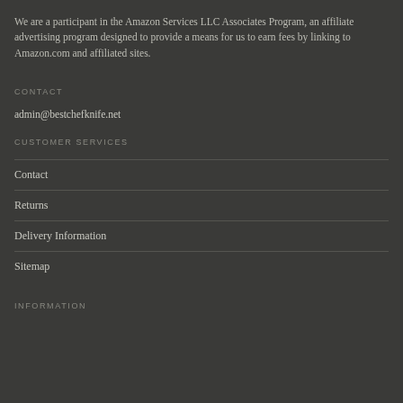We are a participant in the Amazon Services LLC Associates Program, an affiliate advertising program designed to provide a means for us to earn fees by linking to Amazon.com and affiliated sites.
CONTACT
admin@bestchefknife.net
CUSTOMER SERVICES
Contact
Returns
Delivery Information
Sitemap
INFORMATION